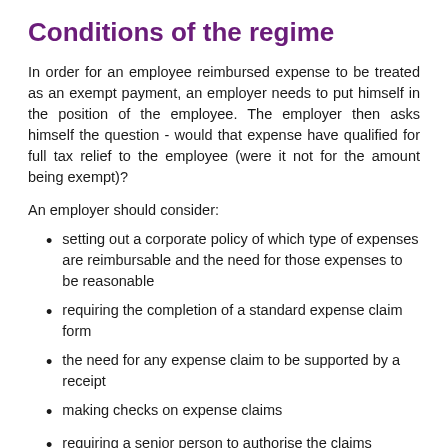Conditions of the regime
In order for an employee reimbursed expense to be treated as an exempt payment, an employer needs to put himself in the position of the employee. The employer then asks himself the question - would that expense have qualified for full tax relief to the employee (were it not for the amount being exempt)?
An employer should consider:
setting out a corporate policy of which type of expenses are reimbursable and the need for those expenses to be reasonable
requiring the completion of a standard expense claim form
the need for any expense claim to be supported by a receipt
making checks on expense claims
requiring a senior person to authorise the claims